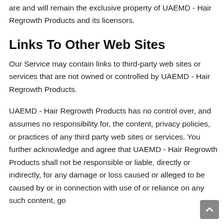are and will remain the exclusive property of UAEMD - Hair Regrowth Products and its licensors.
Links To Other Web Sites
Our Service may contain links to third-party web sites or services that are not owned or controlled by UAEMD - Hair Regrowth Products.
UAEMD - Hair Regrowth Products has no control over, and assumes no responsibility for, the content, privacy policies, or practices of any third party web sites or services. You further acknowledge and agree that UAEMD - Hair Regrowth Products shall not be responsible or liable, directly or indirectly, for any damage or loss caused or alleged to be caused by or in connection with use of or reliance on any such content, go